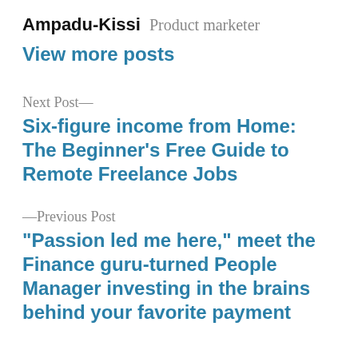Ampadu-Kissi Product marketer
View more posts
Next Post—
Six-figure income from Home: The Beginner's Free Guide to Remote Freelance Jobs
—Previous Post
“Passion led me here,” meet the Finance guru-turned People Manager investing in the brains behind your favorite payment